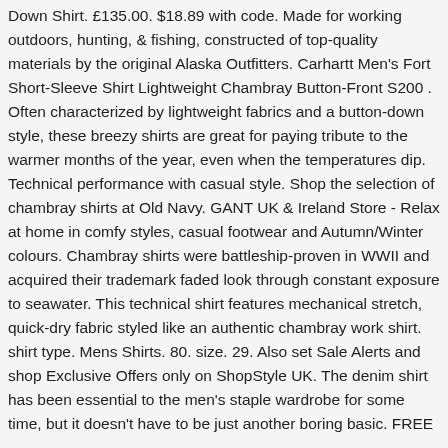Down Shirt. £135.00. $18.89 with code. Made for working outdoors, hunting, & fishing, constructed of top-quality materials by the original Alaska Outfitters. Carhartt Men's Fort Short-Sleeve Shirt Lightweight Chambray Button-Front S200 . Often characterized by lightweight fabrics and a button-down style, these breezy shirts are great for paying tribute to the warmer months of the year, even when the temperatures dip. Technical performance with casual style. Shop the selection of chambray shirts at Old Navy. GANT UK & Ireland Store - Relax at home in comfy styles, casual footwear and Autumn/Winter colours. Chambray shirts were battleship-proven in WWII and acquired their trademark faded look through constant exposure to seawater. This technical shirt features mechanical stretch, quick-dry fabric styled like an authentic chambray work shirt. shirt type. Mens Shirts. 80. size. 29. Also set Sale Alerts and shop Exclusive Offers only on ShopStyle UK. The denim shirt has been essential to the men's staple wardrobe for some time, but it doesn't have to be just another boring basic. FREE